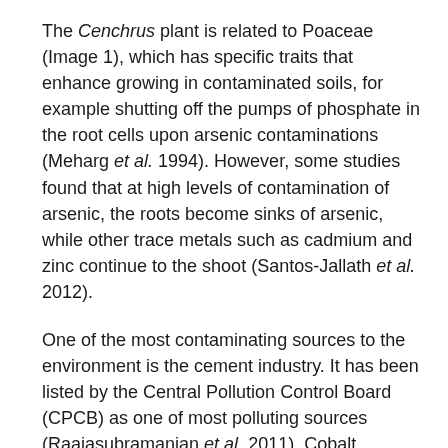The Cenchrus plant is related to Poaceae (Image 1), which has specific traits that enhance growing in contaminated soils, for example shutting off the pumps of phosphate in the root cells upon arsenic contaminations (Meharg et al. 1994). However, some studies found that at high levels of contamination of arsenic, the roots become sinks of arsenic, while other trace metals such as cadmium and zinc continue to the shoot (Santos-Jallath et al. 2012).
One of the most contaminating sources to the environment is the cement industry. It has been listed by the Central Pollution Control Board (CPCB) as one of most polluting sources (Raajasubramanian et al. 2011). Cobalt, cadmium, nickel, lead, silicon, and chromium are pollutants